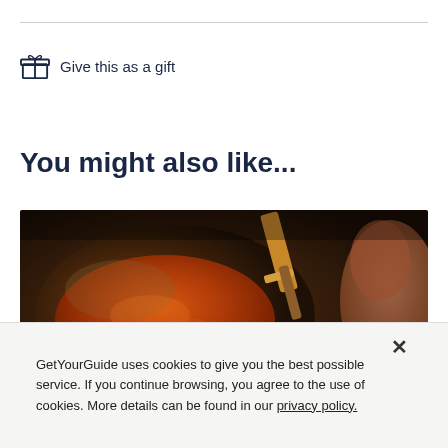Give this as a gift
You might also like...
[Figure (photo): Close-up photo of Indian food cooking in a pan with orange/red curry sauce and a spatula lifting food, a hand holding a bowl of sauce]
GUIDED TOUR
London: 3-Hour Secret Indian Food Tour
3 hours
GetYourGuide uses cookies to give you the best possible service. If you continue browsing, you agree to the use of cookies. More details can be found in our privacy policy.